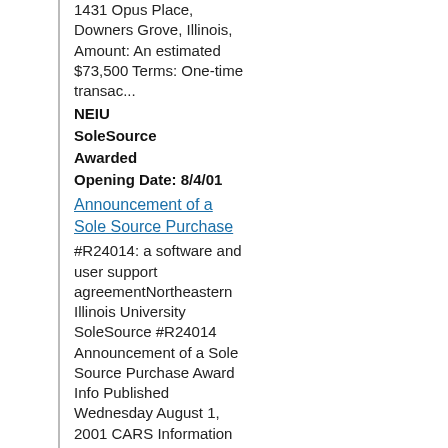1431 Opus Place, Downers Grove, Illinois, Amount: An estimated $73,500 Terms: One-time transac...
NEIU
SoleSource
Awarded
Opening Date: 8/4/01
Announcement of a Sole Source Purchase
#R24014: a software and user support agreementNortheastern Illinois University SoleSource #R24014 Announcement of a Sole Source Purchase Award Info Published Wednesday August 1, 2001 CARS Information Systems, Cincinnati, Ohio, Amount: $96,000 Terms: One-time transaction The University award proce...
NEIU
SoleSource
Awarded
Opening Date: 8/1/01
Announcement of a Sole Source Purchase